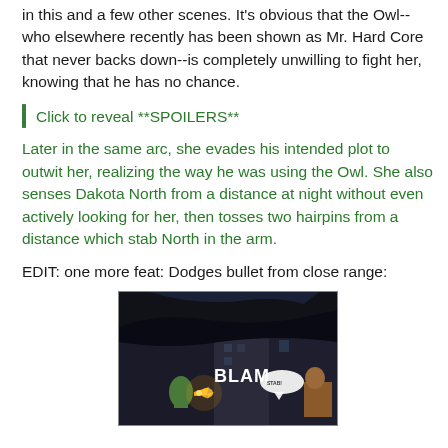in this and a few other scenes. It's obvious that the Owl--who elsewhere recently has been shown as Mr. Hard Core that never backs down--is completely unwilling to fight her, knowing that he has no chance.
Click to reveal **SPOILERS**
Later in the same arc, she evades his intended plot to outwit her, realizing the way he was using the Owl. She also senses Dakota North from a distance at night without even actively looking for her, then tosses two hairpins from a distance which stab North in the arm.
EDIT: one more feat: Dodges bullet from close range:
[Figure (photo): Comic book panel showing a dark-caped figure dodging, with BLAM sound effect text and a muzzle flash, nighttime urban setting]